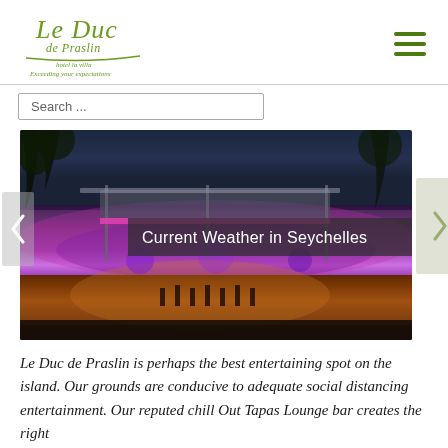[Figure (logo): Le Duc de Praslin hotel logo in green italic script with tagline 'Exceeding your expectations']
[Figure (photo): Night-time exterior photo of Le Duc de Praslin venue illuminated with purple and pink neon lights, with a bar/terrace area and palm trees in background. Overlay text reads 'Current Weather in Seychelles']
Le Duc de Praslin is perhaps the best entertaining spot on the island. Our grounds are conducive to adequate social distancing entertainment. Our reputed chill Out Tapas Lounge bar creates the right